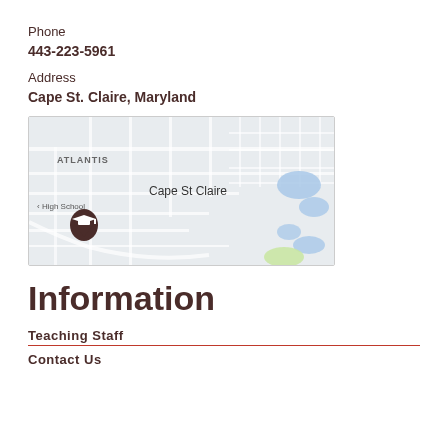Phone
443-223-5961
Address
Cape St. Claire, Maryland
[Figure (map): Google Maps screenshot showing Cape St Claire, Maryland area, with ATLANTIS neighborhood label, a high school marker, and blue water features on the right side.]
Information
Teaching Staff
Contact Us